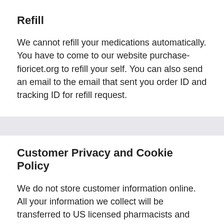Refill
We cannot refill your medications automatically. You have to come to our website purchase-fioricet.org to refill your self. You can also send an email to the email that sent you order ID and tracking ID for refill request.
Customer Privacy and Cookie Policy
We do not store customer information online. All your information we collect will be transferred to US licensed pharmacists and